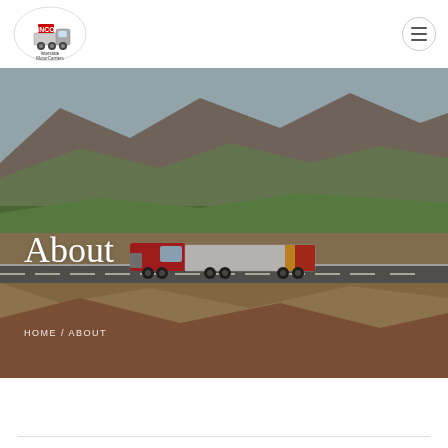[Figure (logo): INCO Interstate Motor Carriers Captive Agency logo — truck illustration with red and white text]
[Figure (photo): Hero banner photo of a red semi-truck with white/yellow/red trailer driving on a highway through a valley with green fields and arid hills]
About
HOME / ABOUT